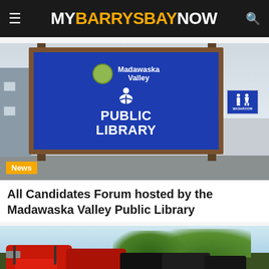MY BARRYS BAY NOW
[Figure (photo): Outdoor photo of a Madawaska Valley Public Library sign — a large blue rectangular sign with white text and a reader icon, mounted on brown wooden posts. A washroom sign is visible to the right. The background shows an overcast sky, trees, and a building on the left.]
News
All Candidates Forum hosted by the Madawaska Valley Public Library
[Figure (photo): Outdoor photo showing several off-road vehicles / dune buggies, red and black, parked together with green trees in the background.]